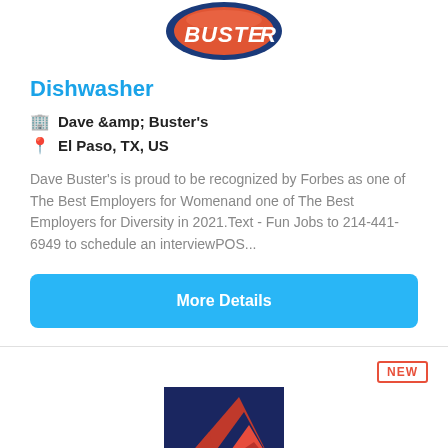[Figure (logo): Dave & Buster's logo — partially visible, orange/red circular logo with blue border and white text reading 'BUSTER']
Dishwasher
Dave &amp; Buster's
El Paso, TX, US
Dave Buster's is proud to be recognized by Forbes as one of The Best Employers for Womenand one of The Best Employers for Diversity in 2021.Text - Fun Jobs to 214-441-6949 to schedule an interviewPOS...
More Details
NEW
[Figure (logo): Delta Air Lines logo — dark navy blue background with red geometric triangle/delta wing shape]